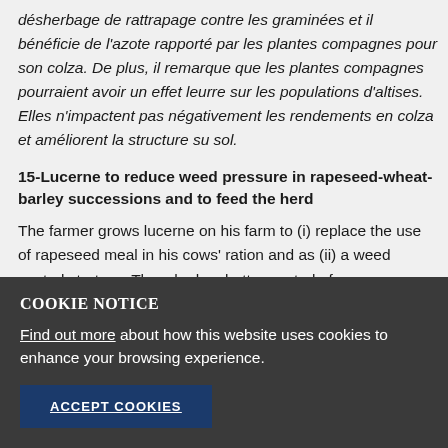désherbage de rattrapage contre les graminées et il bénéficie de l'azote rapporté par les plantes compagnes pour son colza. De plus, il remarque que les plantes compagnes pourraient avoir un effet leurre sur les populations d'altises. Elles n'impactent pas négativement les rendements en colza et améliorent la structure su sol.
15-Lucerne to reduce weed pressure in rapeseed-wheat-barley successions and to feed the herd
The farmer grows lucerne on his farm to (i) replace the use of rapeseed meal in his cows' ration and as (ii) a weed control strategy. Thus, he has better control of
COOKIE NOTICE
Find out more about how this website uses cookies to enhance your browsing experience.
ACCEPT COOKIES